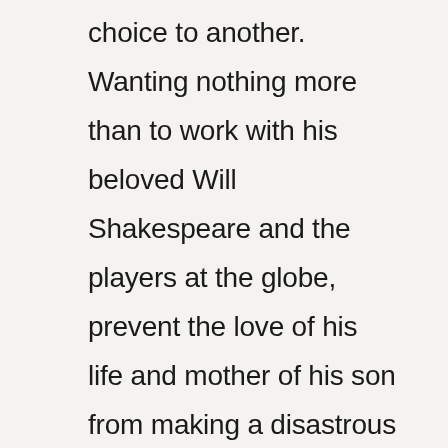choice to another. Wanting nothing more than to work with his beloved Will Shakespeare and the players at the globe, prevent the love of his life and mother of his son from making a disastrous marriage, Lawley tries to pick up the pieces of his life and start again. His first effort is to get sober. However, with war in Ireland looming, and the Queen and her sidekick, Robert Cecil determined to use his connections to the Earl of Essex